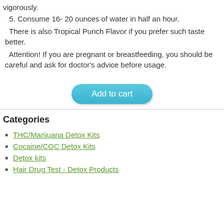vigorously.
5. Consume 16- 20 ounces of water in half an hour.
There is also Tropical Punch Flavor if you prefer such taste better.
Attention! If you are pregnant or breastfeeding, you should be careful and ask for doctor's advice before usage.
[Figure (other): Add to cart button]
Categories
THC/Marijuana Detox Kits
Cocaine/COC Detox Kits
Detox kits
Hair Drug Test - Detox Products